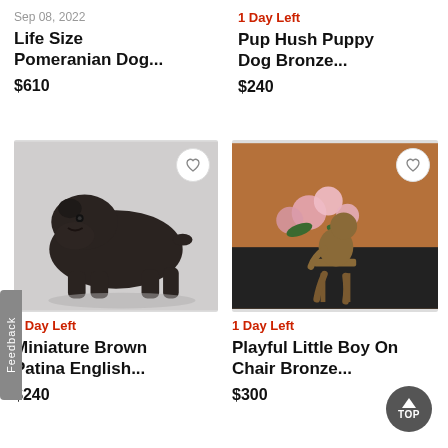Sep 08, 2022
Life Size Pomeranian Dog...
$610
1 Day Left
Pup Hush Puppy Dog Bronze...
$240
[Figure (photo): Bronze bulldog figurine sculpture standing on surface]
1 Day Left
Miniature Brown Patina English...
$240
[Figure (photo): Bronze sculpture of a playful little boy sitting on a chair, against orange and floral background]
1 Day Left
Playful Little Boy On Chair Bronze...
$300